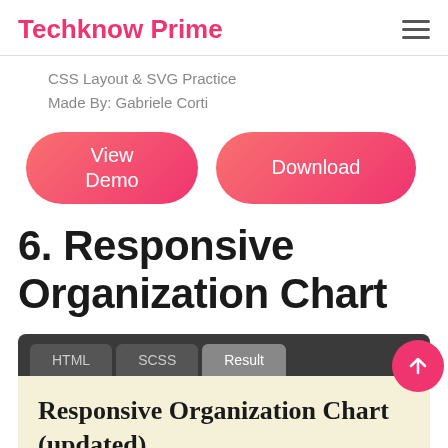Techknow Prime
CSS Layout & SVG Practice
Made By: Gabriele Corti
View Demo
Download
6. Responsive Organization Chart
[Figure (screenshot): Code panel with HTML, SCSS, and Result tabs on a dark background, with a red up-arrow circular button. Below the tabs is a beige result area showing the title 'Responsive Organization Chart (updated)'.]